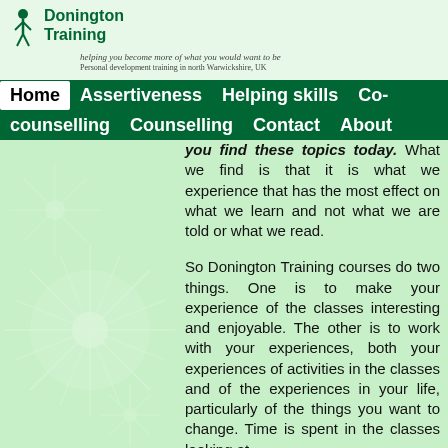Donington Training — helping you become more of what you would want to be. Personal development training in north Warwickshire, UK.
Home | Assertiveness | Helping skills | Co-counselling | Counselling | Contact | About
you find these topics today. What we find is that it is what we experience that has the most effect on what we learn and not what we are told or what we read.
So Donington Training courses do two things. One is to make your experience of the classes interesting and enjoyable. The other is to work with your experiences, both your experiences of activities in the classes and of the experiences in your life, particularly of the things you want to change. Time is spent in the classes looking at